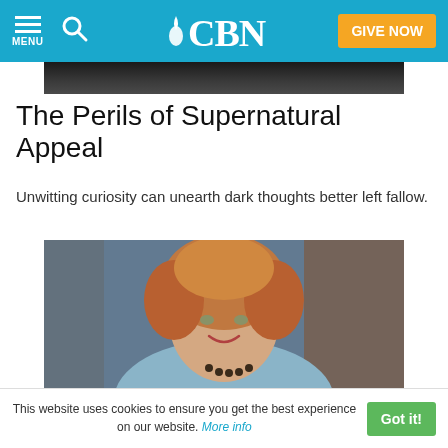CBN – MENU, Search, GIVE NOW
[Figure (photo): Partial top of a person/image behind article title area – dark strip]
The Perils of Supernatural Appeal
Unwitting curiosity can unearth dark thoughts better left fallow.
[Figure (photo): Professional portrait photo of a smiling woman with short reddish-blonde hair, wearing a light blue blazer and dark beaded necklace, against a blurred studio background]
This website uses cookies to ensure you get the best experience on our website. More info